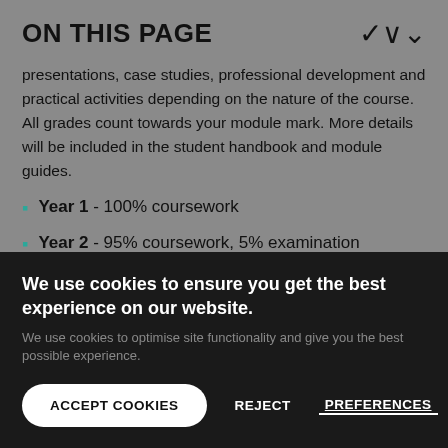ON THIS PAGE
presentations, case studies, professional development and practical activities depending on the nature of the course. All grades count towards your module mark. More details will be included in the student handbook and module guides.
Year 1 - 100% coursework
Year 2 - 95% coursework, 5% examination
We use cookies to ensure you get the best experience on our website.
We use cookies to optimise site functionality and give you the best possible experience.
ACCEPT COOKIES   REJECT   PREFERENCES